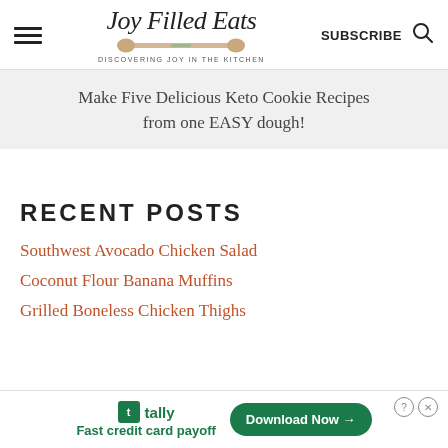Joy Filled Eats — DISCOVERING JOY IN THE KITCHEN — SUBSCRIBE
Make Five Delicious Keto Cookie Recipes from one EASY dough!
RECENT POSTS
Southwest Avocado Chicken Salad
Coconut Flour Banana Muffins
Grilled Boneless Chicken Thighs
tally — Fast credit card payoff — Download Now →